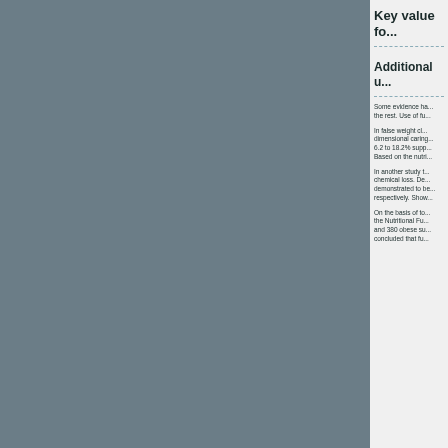Key value fo...
Additional u...
Some evidence ha... the rest. Use of fu...
In false weight cl... dimensional caring... 6.2 to 18.2% supp... Based on the nutri...
In another study... chemical loss. De... demonstrated to be... respectively. Show...
On the basis of to... the Nutritional Fu... and 380 obese su... concluded that fu...